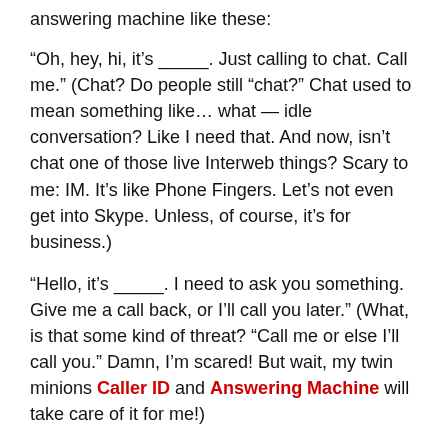answering machine like these:
“Oh, hey, hi, it’s _____. Just calling to chat. Call me.” (Chat? Do people still “chat?” Chat used to mean something like… what — idle conversation? Like I need that. And now, isn’t chat one of those live Interweb things? Scary to me: IM. It’s like Phone Fingers. Let’s not even get into Skype. Unless, of course, it’s for business.)
“Hello, it’s _____. I need to ask you something. Give me a call back, or I’ll call you later.” (What, is that some kind of threat? “Call me or else I’ll call you.” Damn, I’m scared! But wait, my twin minions Caller ID and Answering Machine will take care of it for me!)
“Hey, it’s _____. I wanted to ask you a question. It’s kind of important, call me back/not important, call me back.” (These callers waffle between these two choices